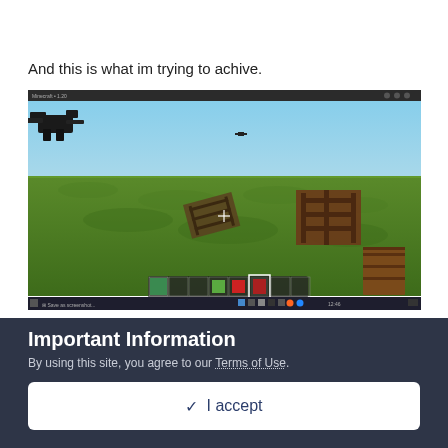And this is what im trying to achive.
[Figure (screenshot): A Minecraft game screenshot showing a green grassy landscape with blue sky. Several wooden fence pieces and what appears to be a black wither or ender dragon creature are visible. The game HUD shows a hotbar at the bottom with various items. A Windows taskbar is visible at the very bottom.]
Important Information
By using this site, you agree to our Terms of Use.
✓ I accept